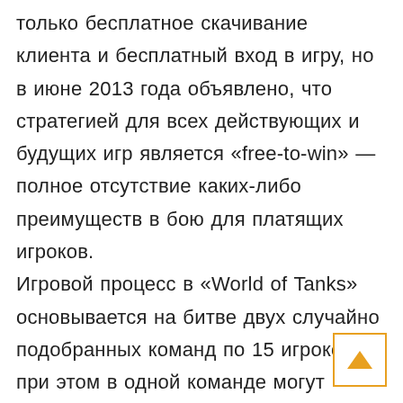только бесплатное скачивание клиента и бесплатный вход в игру, но в июне 2013 года объявлено, что стратегией для всех действующих и будущих игр является «free-to-win» — полное отсутствие каких-либо преимуществ в бою для платящих игроков.
Игровой процесс в «World of Tanks» основывается на битве двух случайно подобранных команд по 15 игроков — при этом в одной команде могут сочетаться танки разных наций и годов выпуска, реальные танки и
[Figure (other): Orange-bordered button with an upward-pointing orange triangle arrow icon]